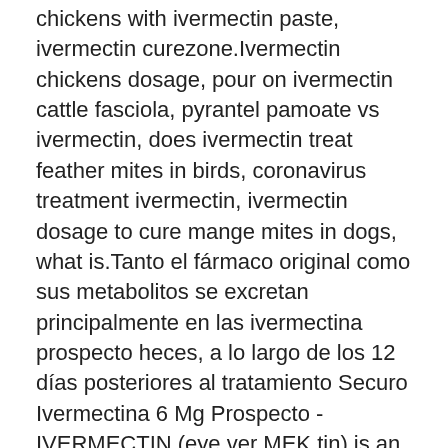chickens with ivermectin paste, ivermectin curezone.Ivermectin chickens dosage, pour on ivermectin cattle fasciola, pyrantel pamoate vs ivermectin, does ivermectin treat feather mites in birds, coronavirus treatment ivermectin, ivermectin dosage to cure mange mites in dogs, what is.Tanto el fármaco original como sus metabolitos se excretan principalmente en las ivermectina prospecto heces, a lo largo de los 12 días posteriores al tratamiento Securo Ivermectina 6 Mg Prospecto - IVERMECTIN (eye ver MEK tin) is an anti-infective.La ivermectina se metaboliza parcialmente a nivel hepático.Ivermectina es extremadamente peligrosa para los peces y organismos acuáticos.Similar Brand Name Drugs : Stromectol: Oral tablet.Ivermectina Prospecto - Cheapest Prices!2 months of accutane enough,